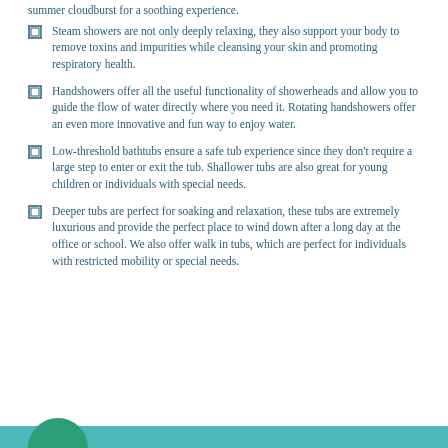summer cloudburst for a soothing experience.
Steam showers are not only deeply relaxing, they also support your body to remove toxins and impurities while cleansing your skin and promoting respiratory health.
Handshowers offer all the useful functionality of showerheads and allow you to guide the flow of water directly where you need it. Rotating handshowers offer an even more innovative and fun way to enjoy water.
Low-threshold bathtubs ensure a safe tub experience since they don't require a large step to enter or exit the tub. Shallower tubs are also great for young children or individuals with special needs.
Deeper tubs are perfect for soaking and relaxation, these tubs are extremely luxurious and provide the perfect place to wind down after a long day at the office or school. We also offer walk in tubs, which are perfect for individuals with restricted mobility or special needs.